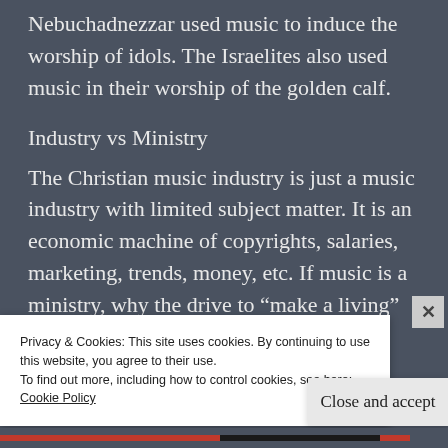Nebuchadnezzar used music to induce the worship of idols. The Israelites also used music in their worship of the golden calf.
Industry vs Ministry
The Christian music industry is just a music industry with limited subject matter. It is an economic machine of copyrights, salaries, marketing, trends, money, etc. If music is a ministry, why the drive to “make a living” doing ministry? Why can we not use our hands
Privacy & Cookies: This site uses cookies. By continuing to use this website, you agree to their use.
To find out more, including how to control cookies, see here:
Cookie Policy
Close and accept